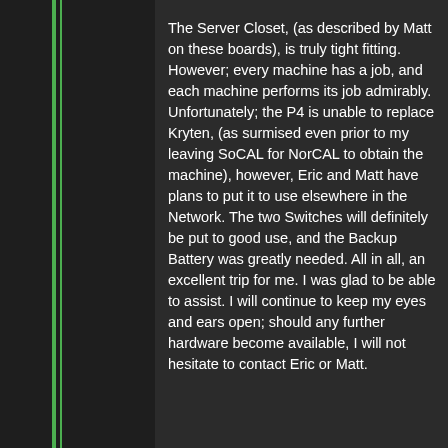The Server Closet, (as described by Matt on these boards), is truly tight fitting. However; every machine has a job, and each machine performs its job admirably. Unfortunately; the P4 is unable to replace Kryten, (as surmised even prior to my leaving SoCAL for NorCAL to obtain the machine), however, Eric and Matt have plans to put it to use elsewhere in the Network. The two Switches will definitely be put to good use, and the Backup Battery was greatly needed. All in all, an excellent trip for me. I was glad to be able to assist. I will continue to keep my eyes and ears open; should any further hardware become available, I will not hesitate to contact Eric or Matt.